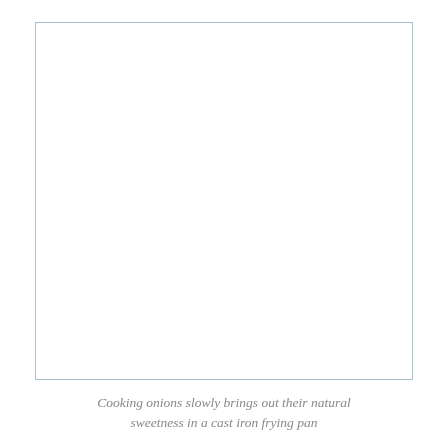[Figure (photo): A blank white rectangular image placeholder with a light blue-grey border, representing a photo of cooking onions in a cast iron frying pan.]
Cooking onions slowly brings out their natural sweetness in a cast iron frying pan